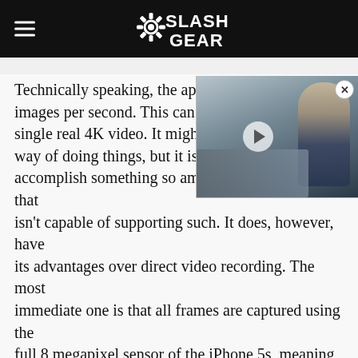SlashGear
[Figure (screenshot): Video overlay thumbnail showing a man in a dark suit next to a car interior, with a play button. A close (X) button is in the top right corner.]
Technically speaking, the app images per second. This can single real 4K video. It might s way of doing things, but it is p accomplish something so ambitious on a platform that isn't capable of supporting such. It does, however, have its advantages over direct video recording. The most immediate one is that all frames are captured using the full 8 megapixel sensor of the iPhone 5s, meaning that you have raw, uncompressed quality available. Technically speaking, Vizzywig 4K captures at a rate of 72 MB/sec (576 Megabits per second), something that not even the likes of the LG G3 can accomplish given